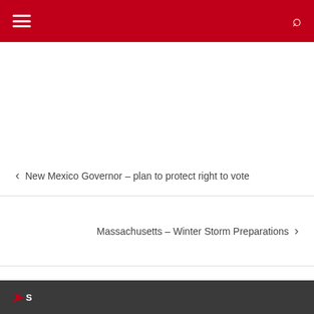Navigation header with hamburger menu and search icon
< New Mexico Governor – plan to protect right to vote
Massachusetts – Winter Storm Preparations >
Site logo footer